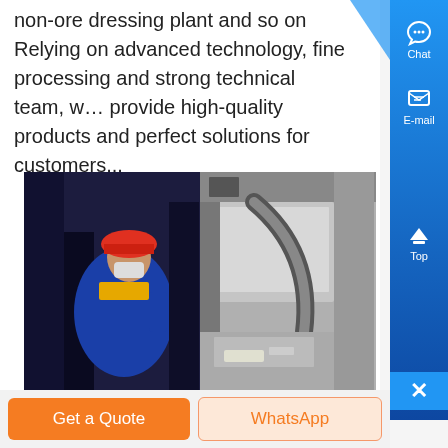non-ore dressing plant and so on Relying on advanced technology, fine processing and strong technical team, we provide high-quality products and perfect solutions for customers...
[Figure (photo): Two industrial photos: left shows a worker wearing a red hard hat, blue overalls, and face mask operating machinery in a factory; right shows a close-up of CNC or industrial machine components in grey/black tones]
Chat
E-mail
Top
Get a Quote
WhatsApp